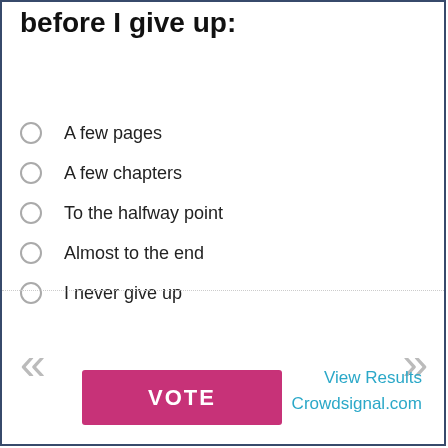before I give up:
A few pages
A few chapters
To the halfway point
Almost to the end
I never give up
VOTE
View Results
Crowdsignal.com